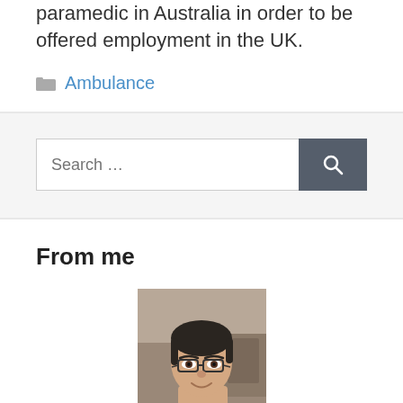paramedic in Australia in order to be offered employment in the UK.
Ambulance
Search ...
From me
[Figure (photo): Portrait photo of a man with dark hair wearing glasses, smiling slightly, photographed in front of a blurred background.]